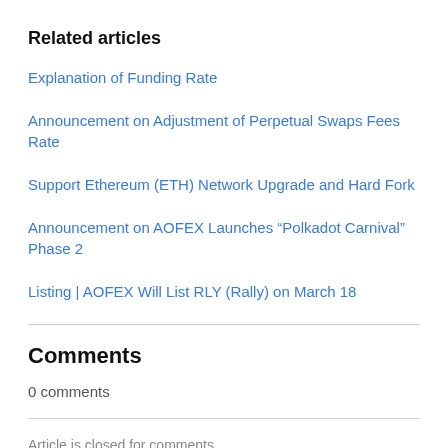Related articles
Explanation of Funding Rate
Announcement on Adjustment of Perpetual Swaps Fees Rate
Support Ethereum (ETH) Network Upgrade and Hard Fork
Announcement on AOFEX Launches “Polkadot Carnival” Phase 2
Listing | AOFEX Will List RLY (Rally) on March 18
Comments
0 comments
Article is closed for comments.